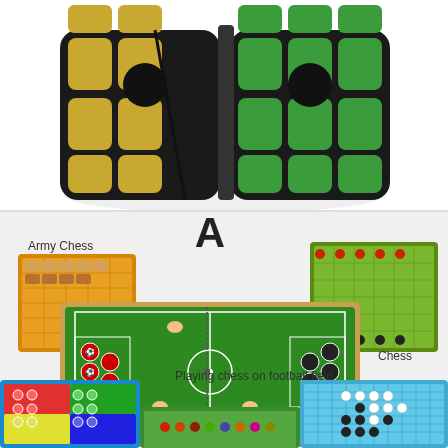[Figure (photo): Close-up photo of a cylindrical Rubik's cube-style puzzle with black frame and yellow/green colored panels against a white background.]
[Figure (photo): Product photo showing multiple board games including Army Chess (orange board with pieces), Chess (green board), Playing chess on football field (large folding green football field board with red and black pieces), Ludo/Parcheesi (blue board with colored pegs), Chinese checkers (light blue board with black and white pieces), and other games. A large letter 'A' is displayed in the center top area.]
Army Chess
Chess
Playing chess on football field